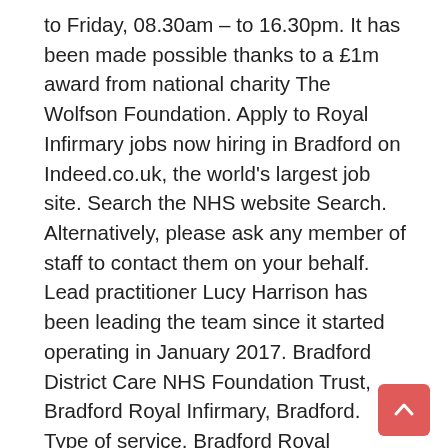to Friday, 08.30am – to 16.30pm. It has been made possible thanks to a £1m award from national charity The Wolfson Foundation. Apply to Royal Infirmary jobs now hiring in Bradford on Indeed.co.uk, the world's largest job site. Search the NHS website Search. Alternatively, please ask any member of staff to contact them on your behalf. Lead practitioner Lucy Harrison has been leading the team since it started operating in January 2017. Bradford District Care NHS Foundation Trust, Bradford Royal Infirmary, Bradford. Type of service. Bradford Royal Infirmary Requires improvement. Jane, the Registered Manager, has worked at Wellington House for over 13 years. Bradford Royal Infirmary Requires improvement. Placements are arranged for pre 16 (year 10/11 students) and post 16 (any other placement) with Bradford Council. I was diagnosed with cancer of the prostate in January of this year and referred by my local Urology team in Calderdale to the specialist services in Bradford. We are inviting applications from Highly Specialist Speech &